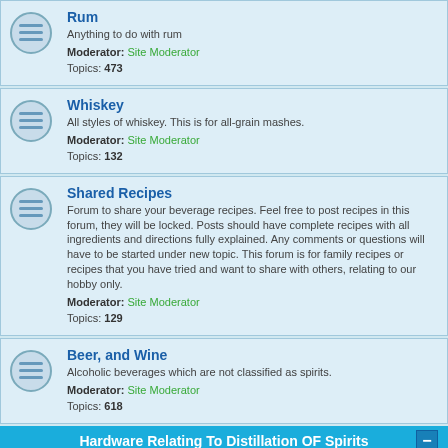Rum — Anything to do with rum. Moderator: Site Moderator. Topics: 473
Whiskey — All styles of whiskey. This is for all-grain mashes. Moderator: Site Moderator. Topics: 132
Shared Recipes — Forum to share your beverage recipes. Feel free to post recipes in this forum, they will be locked. Posts should have complete recipes with all ingredients and directions fully explained. Any comments or questions will have to be started under new topic. This forum is for family recipes or recipes that you have tried and want to share with others, relating to our hobby only. Moderator: Site Moderator. Topics: 129
Beer, and Wine — Alcoholic beverages which are not classified as spirits. Moderator: Site Moderator. Topics: 618
Hardware Relating To Distillation OF Spirits
Research and Theory — Distillation methods and improvements. Moderator: Site Moderator. Topics: 1872
Pot Distillation/Thumper and Design — Simple pot still distillation and construction with or without a thumper. Moderator: Site Moderator